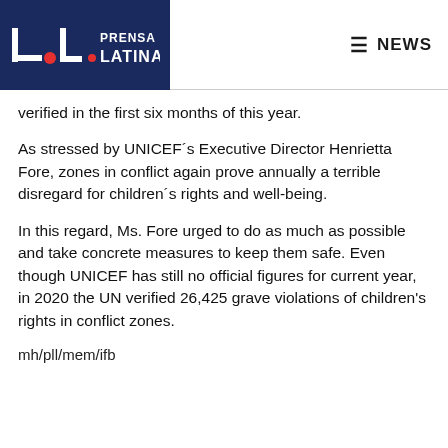Prensa Latina | NEWS
verified in the first six months of this year.
As stressed by UNICEF´s Executive Director Henrietta Fore, zones in conflict again prove annually a terrible disregard for children´s rights and well-being.
In this regard, Ms. Fore urged to do as much as possible and take concrete measures to keep them safe. Even though UNICEF has still no official figures for current year, in 2020 the UN verified 26,425 grave violations of children's rights in conflict zones.
mh/pll/mem/ifb